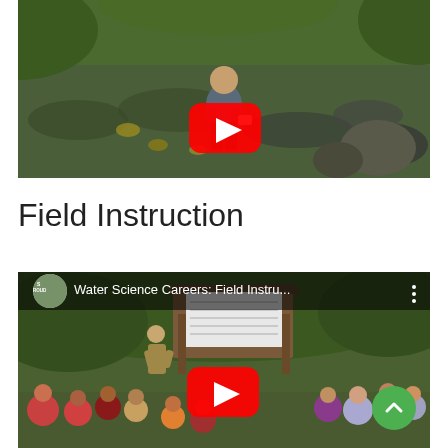[Figure (photo): A person crouching in a shallow rocky stream, wearing rubber boots. A YouTube play button overlay is centered on the image.]
Field Instruction
[Figure (screenshot): YouTube video thumbnail for 'Water Science Careers: Field Instru...' showing a group of students seated outdoors watching an instructor at a wooden kiosk/bulletin board in a wooded area. Stroud Water Research Center logo in top left. YouTube play button overlay centered. Green scroll-up button in bottom right.]